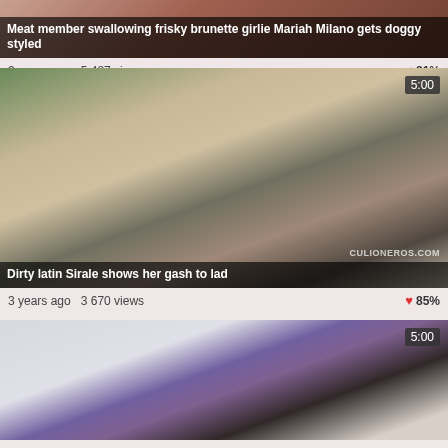Meat member swallowing frisky brunette girlie Mariah Milano gets doggy styled
3 years ago  5 487 views  ♥ 81%
[Figure (photo): Video thumbnail showing two people on a couch, woman in teal top with dark hair, man in striped shirt, timer badge showing 5:00, watermark CULIONEROS.COM]
Dirty latin Sirale shows her gash to lad
3 years ago  3 670 views  ♥ 85%
[Figure (photo): Video thumbnail showing woman in purple dress from behind, standing near colorful wall art and plant, timer badge showing 5:00]